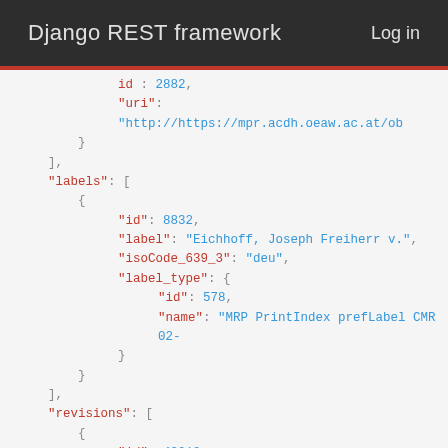Django REST framework   Log in
JSON code block showing API response with id: 2882, uri, labels array with id: 8832, label: Eichhoff Joseph Freiherr v., isoCode_639_3: deu, label_type with id: 578, name: MRP PrintIndex prefLabel CMR 02-, revisions array with id: 42019, date_created: 2021-05-18T06:33:45Z, user_created: ASKowarzik, and id: 42016